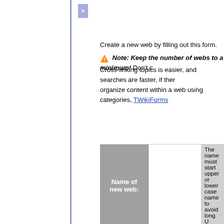Create a new web by filling out this form.
Note: Keep the number of webs to a minimum! Don't create a new web for every little thing. Cross-linking topics is easier, and searches are faster, if there are few webs. You can organize content within a web using categories, TWikiForms
| Name of new web: |  | The name must start... |
| --- | --- | --- |
Changed:
Based on web: _default  Select a TemplateWeb.
Based on web: _default  Select a TemplateWeb.
Web color: #d0d0d0  Select color... Note: Use...